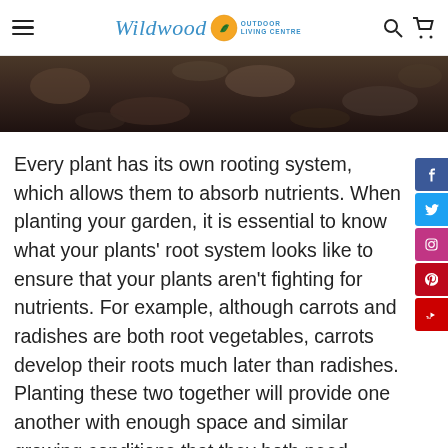Wildwood Outdoor Living Centre – navigation bar with hamburger menu, logo, search and cart icons
[Figure (photo): Close-up photo of dark soil or mulch, serving as a hero/banner image at the top of the article page.]
Every plant has its own rooting system, which allows them to absorb nutrients. When planting your garden, it is essential to know what your plants' root system looks like to ensure that your plants aren't fighting for nutrients. For example, although carrots and radishes are both root vegetables, carrots develop their roots much later than radishes. Planting these two together will provide one another with enough space and similar growing conditions that they both need.